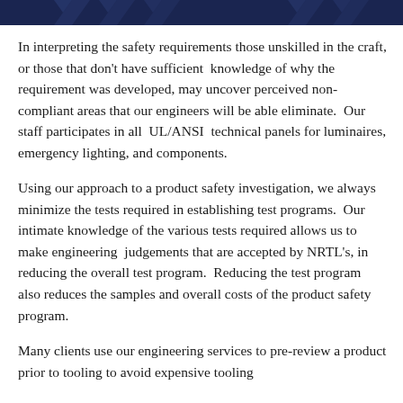In interpreting the safety requirements those unskilled in the craft, or those that don't have sufficient knowledge of why the requirement was developed, may uncover perceived non-compliant areas that our engineers will be able eliminate. Our staff participates in all UL/ANSI technical panels for luminaires, emergency lighting, and components.
Using our approach to a product safety investigation, we always minimize the tests required in establishing test programs. Our intimate knowledge of the various tests required allows us to make engineering judgements that are accepted by NRTL's, in reducing the overall test program. Reducing the test program also reduces the samples and overall costs of the product safety program.
Many clients use our engineering services to pre-review a product prior to tooling to avoid expensive tooling